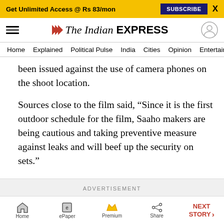Get Unlimited Access @ Rs 83/mon  SUBSCRIBE  X
The Indian EXPRESS
Home  Explained  Political Pulse  India  Cities  Opinion  Entertainment
been issued against the use of camera phones on the shoot location.
Sources close to the film said, “Since it is the first outdoor schedule for the film, Saaho makers are being cautious and taking preventive measure against leaks and will beef up the security on sets.”
ADVERTISEMENT
Home  ePaper  Premium  Share  NEXT STORY